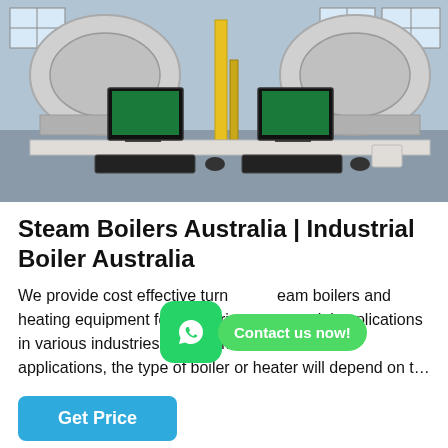[Figure (photo): Industrial boiler facility with two large cylindrical steam boilers visible in background and two computer workstations with monitors showing control interfaces in foreground, on a white table with keyboards]
Steam Boilers Australia | Industrial Boiler Australia
We provide cost effective turn key steam boilers and heating equipment for industrial and commercial applications in various industries. In commercial & industrial applications, the type of boiler or heater will depend on t...